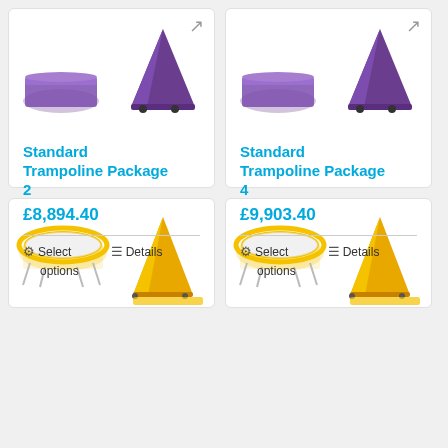[Figure (photo): Product image of Standard Trampoline Package 2 - purple mat and purple cover]
Standard Trampoline Package 2
£8,894.40
Select options   Details
[Figure (photo): Product image of Standard Trampoline Package 4 - purple mat and purple cover]
Standard Trampoline Package 4
£9,903.40
Select options   Details
[Figure (photo): Product image bottom left - yellow trampoline with cover, partial view]
[Figure (photo): Product image bottom right - yellow trampoline with cover, partial view]